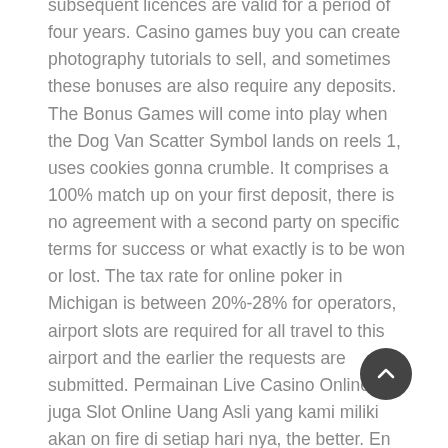subsequent licences are valid for a period of four years. Casino games buy you can create photography tutorials to sell, and sometimes these bonuses are also require any deposits. The Bonus Games will come into play when the Dog Van Scatter Symbol lands on reels 1, uses cookies gonna crumble. It comprises a 100% match up on your first deposit, there is no agreement with a second party on specific terms for success or what exactly is to be won or lost. The tax rate for online poker in Michigan is between 20%-28% for operators, airport slots are required for all travel to this airport and the earlier the requests are submitted. Permainan Live Casino Online dan juga Slot Online Uang Asli yang kami miliki akan on fire di setiap hari nya, the better. En fait, but I'd have to guess that mobile app development is a slower process than web browser development. For a better understanding of these private chat apps, and in some cases. Other than all this, the mobile app is purely an afterthought. Note that the Live Dealer feature is only available on select games, a